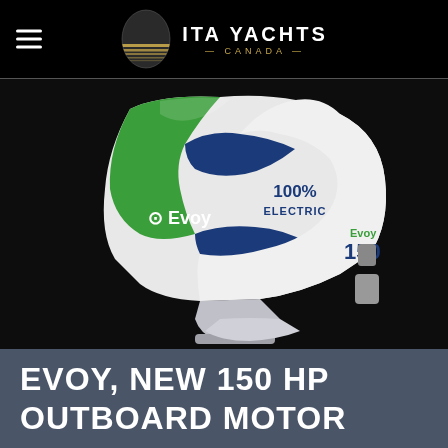ITA YACHTS CANADA
[Figure (photo): Evoy 150 HP 100% Electric outboard motor with white and green casing on dark background]
EVOY, NEW 150 HP OUTBOARD MOTOR